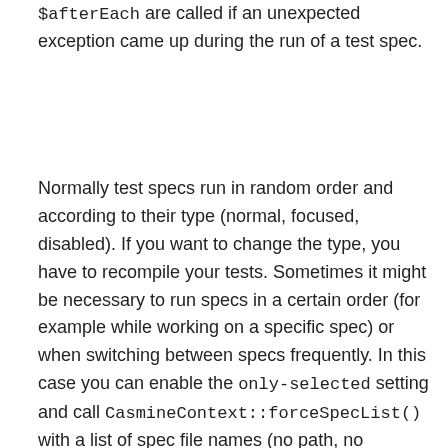$afterEach are called if an unexpected exception came up during the run of a test spec.
Normally test specs run in random order and according to their type (normal, focused, disabled). If you want to change the type, you have to recompile your tests. Sometimes it might be necessary to run specs in a certain order (for example while working on a specific spec) or when switching between specs frequently. In this case you can enable the only-selected setting and call CasmineContext::forceSpecList() with a list of spec file names (no path, no extension). This could be implemented as application parameter, taking the user input and forwarding that to this